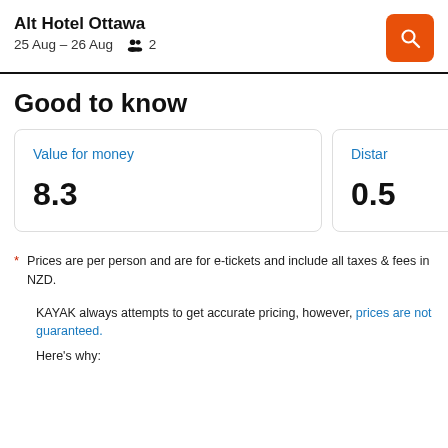Alt Hotel Ottawa
25 Aug – 26 Aug  2
Good to know
Value for money
8.3
Distan
0.5
* Prices are per person and are for e-tickets and include all taxes & fees in NZD.

KAYAK always attempts to get accurate pricing, however, prices are not guaranteed.

Here's why: